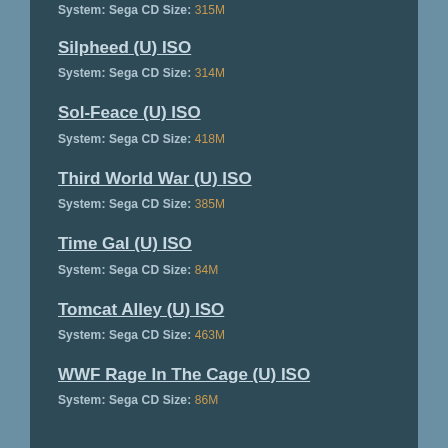System: Sega CD Size: 315M
Silpheed (U) ISO
System: Sega CD Size: 314M
Sol-Feace (U) ISO
System: Sega CD Size: 418M
Third World War (U) ISO
System: Sega CD Size: 385M
Time Gal (U) ISO
System: Sega CD Size: 84M
Tomcat Alley (U) ISO
System: Sega CD Size: 463M
WWF Rage In The Cage (U) ISO
System: Sega CD Size: 86M